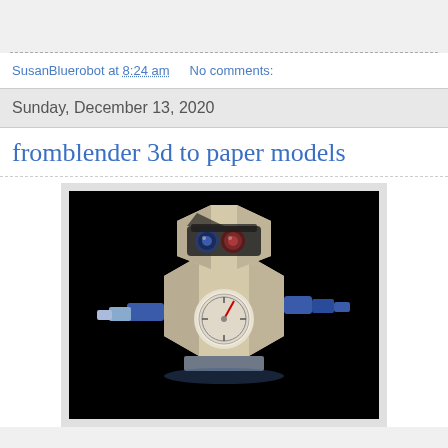SusanBluerobot at 8:24 am   No comments:
Sunday, December 13, 2020
fromblender 3d to paper models
[Figure (photo): 3D rendered robot with a boxy beige body, gauge on chest, blue arms, and goggle-like eyes on a black background]